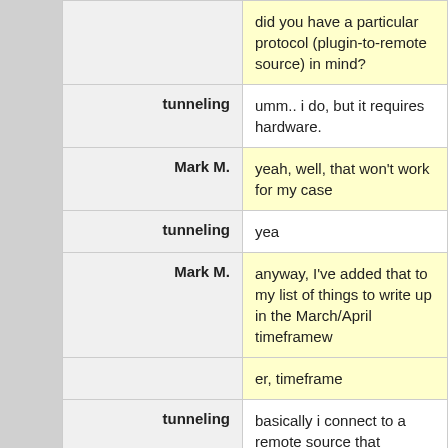| Speaker | Message |
| --- | --- |
|  | did you have a particular protocol (plugin-to-remote source) in mind? |
| tunneling | umm.. i do, but it requires hardware. |
| Mark M. | yeah, well, that won't work for my case |
| tunneling | yea |
| Mark M. | anyway, I've added that to my list of things to write up in the March/April timeframew |
|  | er, timeframe |
| tunneling | basically i connect to a remote source that requires you to talk to it at least once every 5 minutes |
| Mark M. | (one of these days, I'll figure out why damn near all my typos are on the last words of my sentences) |
|  | ah, yeah, that problem |